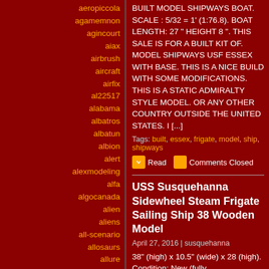aeropiccola
agamemnon
agincourt
aiax
airbrush
aircraft
airfix
al22517
alabama
albatros
albatun
albion
alert
alexmodeling
alfa
algocanada
alien
aliens
all-scenario
allosaurs
allure
amati
amazing
america
american
BUILT MODEL SHIPWAYS BOAT. SCALE : 5/32 = 1' (1:76.8). BOAT LENGTH: 27 " HEIGHT 8 ". THIS SALE IS FOR A BUILT KIT OF. MODEL SHIPWAYS USF ESSEX WITH BASE. THIS IS A NICE BUILD WITH SOME MODIFICATIONS. THIS IS A STATIC ADMIRALTY STYLE MODEL. OR ANY OTHER COUNTRY OUTSIDE THE UNITED STATES. I [...]
Tags: built, essex, frigate, model, ship, shipways
Read   Comments Closed
USS Susquehanna Sidewheel Steam Frigate Sailing Ship 38 Wooden Model
April 27, 2016 | susquehanna
38" (high) x 10.5" (wide) x 28 (high). Condition: New (fully